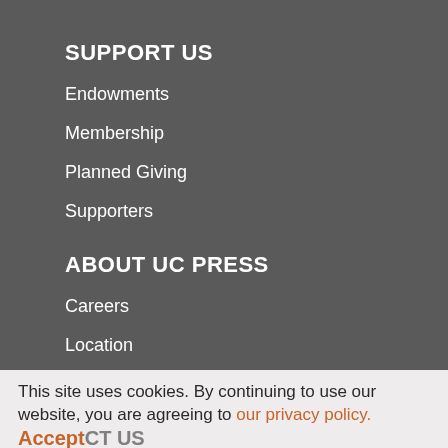SUPPORT US
Endowments
Membership
Planned Giving
Supporters
ABOUT UC PRESS
Careers
Location
Press Releases
Seasonal Catalog
This site uses cookies. By continuing to use our website, you are agreeing to our privacy policy.
Accept
CONTACT US